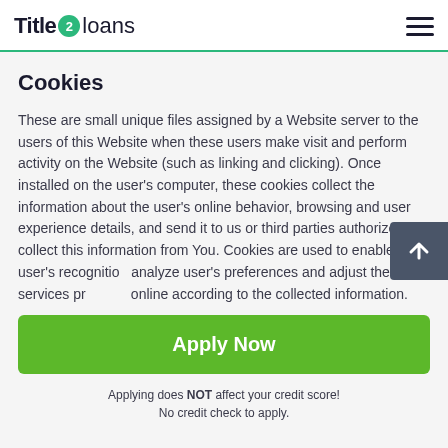Title 2 loans
Cookies
These are small unique files assigned by a Website server to the users of this Website when these users make visit and perform activity on the Website (such as linking and clicking). Once installed on the user's computer, these cookies collect the information about the user's online behavior, browsing and user experience details, and send it to us or third parties authorized to collect this information from You. Cookies are used to enable user's recognition, analyze user's preferences and adjust the services provided online according to the collected information. Additionally
Apply Now
Applying does NOT affect your credit score! No credit check to apply.